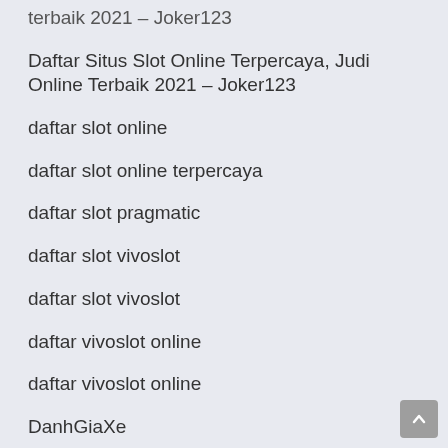terbaik 2021 – Joker123
Daftar Situs Slot Online Terpercaya, Judi Online Terbaik 2021 – Joker123
daftar slot online
daftar slot online terpercaya
daftar slot pragmatic
daftar slot vivoslot
daftar slot vivoslot
daftar vivoslot online
daftar vivoslot online
DanhGiaXe
Dark Web
Dark Web
data hk
data hk